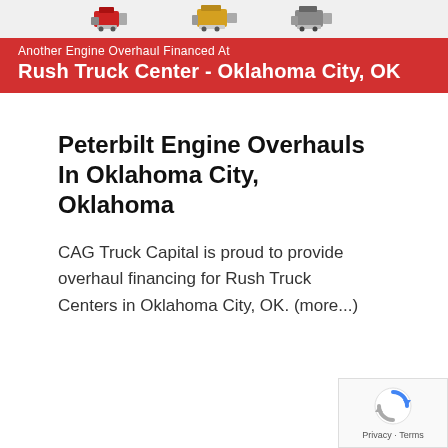[Figure (illustration): Three truck engine images displayed on a light gray background at the top of the page]
Another Engine Overhaul Financed At Rush Truck Center - Oklahoma City, OK
Peterbilt Engine Overhauls In Oklahoma City, Oklahoma
CAG Truck Capital is proud to provide overhaul financing for Rush Truck Centers in Oklahoma City, OK. (more...)
[Figure (logo): Google reCAPTCHA badge with spinning arrow icon and Privacy - Terms text]